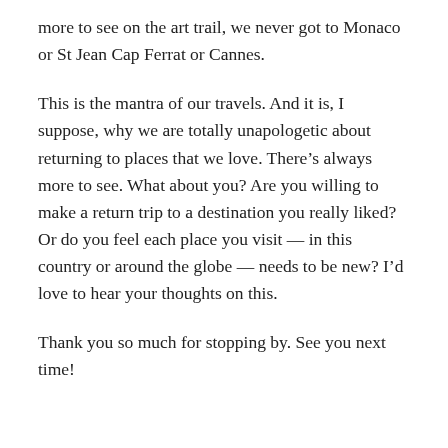more to see on the art trail, we never got to Monaco or St Jean Cap Ferrat or Cannes.
This is the mantra of our travels. And it is, I suppose, why we are totally unapologetic about returning to places that we love. There’s always more to see. What about you? Are you willing to make a return trip to a destination you really liked? Or do you feel each place you visit — in this country or around the globe — needs to be new? I’d love to hear your thoughts on this.
Thank you so much for stopping by. See you next time!